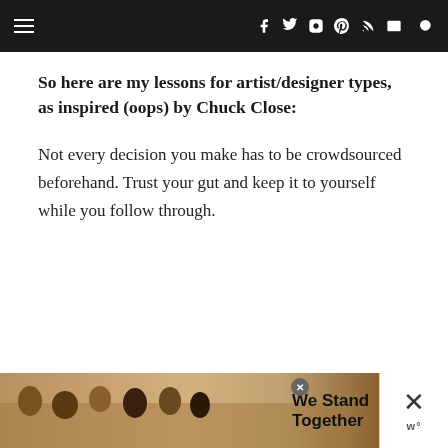navigation bar with hamburger menu, social icons (f, twitter, instagram, pinterest, RSS, mail), and search icon
So here are my lessons for artist/designer types, as inspired (oops) by Chuck Close:
Not every decision you make has to be crowdsourced beforehand. Trust your gut and keep it to yourself while you follow through.
[Figure (infographic): Advertisement banner at the bottom showing people standing together with text 'We Stand Together' and a close button, with a 'w' logo on the right side]